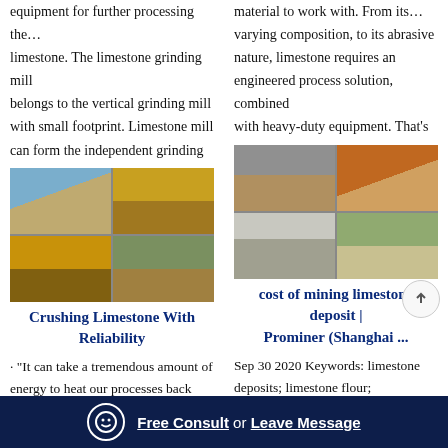equipment for further processing the… limestone. The limestone grinding mill belongs to the vertical grinding mill with small footprint. Limestone mill can form the independent grinding
material to work with. From its… varying composition, to its abrasive nature, limestone requires an engineered process solution, combined with heavy-duty equipment. That's
[Figure (photo): Grid of four industrial mining/crushing equipment photos showing yellow crushers and processing plants by water and outdoor sites]
[Figure (photo): Grid of four photos showing limestone mining operations, conveyor belts, stockpiles, and quarry sites with green hills]
Crushing Limestone With Reliability
cost of mining limestone deposit | Prominer (Shanghai ...
· "It can take a tremendous amount of energy to heat our processes back up… before we make one ton of lime," said Swafford, "so we guard that because
Sep 30 2020 Keywords: limestone deposits; limestone flour; limestone… sorbents for the costs of limestone transportation from a mine to a
Free Consult  or  Leave Message